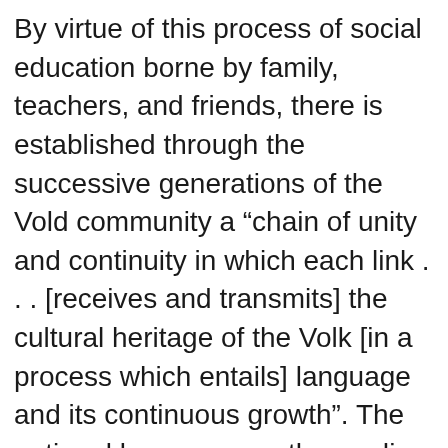By virtue of this process of social education borne by family, teachers, and friends, there is established through the successive generations of the Vold community a “chain of unity and continuity in which each link . . . [receives and transmits] the cultural heritage of the Volk [in a process which entails] language and its continuous growth”. The national language, as the medium of the transmission of the cultural spirit of the Volk, connects its members in a organic community embracing the ideas, wisdom, and values of past, present, and future